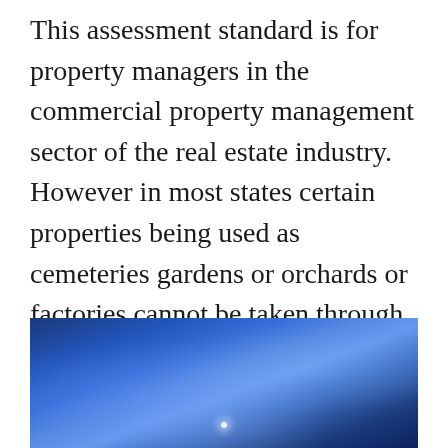This assessment standard is for property managers in the commercial property management sector of the real estate industry. However in most states certain properties being used as cemeteries gardens or orchards or factories cannot be taken through eminent domain. – calculate investment performance and other performance results.
[Figure (photo): A blue-toned photograph, likely showing a nighttime or dramatic sky scene with a faint bright point of light at the bottom center.]